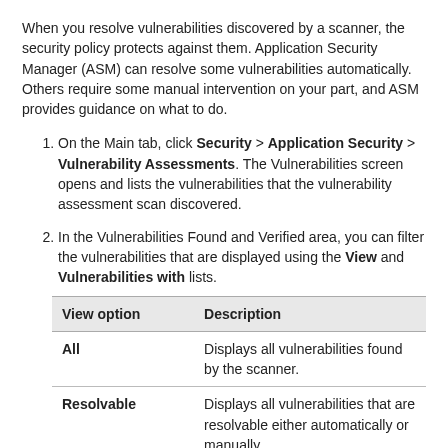When you resolve vulnerabilities discovered by a scanner, the security policy protects against them. Application Security Manager (ASM) can resolve some vulnerabilities automatically. Others require some manual intervention on your part, and ASM provides guidance on what to do.
On the Main tab, click Security > Application Security > Vulnerability Assessments. The Vulnerabilities screen opens and lists the vulnerabilities that the vulnerability assessment scan discovered.
In the Vulnerabilities Found and Verified area, you can filter the vulnerabilities that are displayed using the View and Vulnerabilities with lists.
| View option | Description |
| --- | --- |
| All | Displays all vulnerabilities found by the scanner. |
| Resolvable | Displays all vulnerabilities that are resolvable either automatically or manually. |